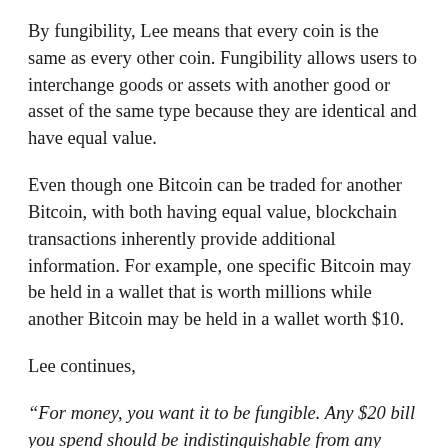By fungibility, Lee means that every coin is the same as every other coin. Fungibility allows users to interchange goods or assets with another good or asset of the same type because they are identical and have equal value.
Even though one Bitcoin can be traded for another Bitcoin, with both having equal value, blockchain transactions inherently provide additional information. For example, one specific Bitcoin may be held in a wallet that is worth millions while another Bitcoin may be held in a wallet worth $10.
Lee continues,
“For money, you want it to be fungible. Any $20 bill you spend should be indistinguishable from any other ones…And it’s not true today for Bitcoin and Litecoin. If